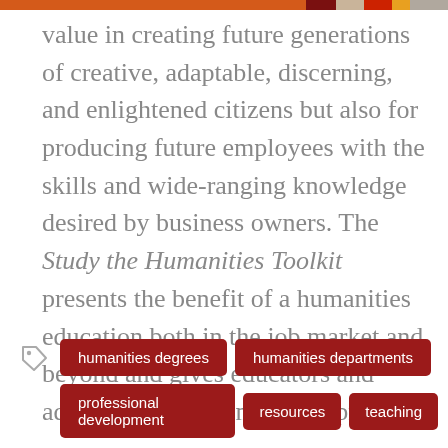value in creating future generations of creative, adaptable, discerning, and enlightened citizens but also for producing future employees with the skills and wide-ranging knowledge desired by business owners. The Study the Humanities Toolkit presents the benefit of a humanities education both in the job market and beyond and gives educators and administrators the means to prove it.
humanities degrees
humanities departments
professional development
resources
teaching